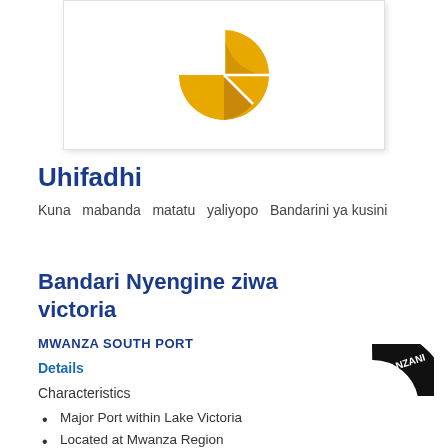[Figure (pie-chart): Golden/yellow pie chart icon showing a pie chart with multiple slices, partially segmented]
Uhifadhi
Kuna mabanda matatu yaliyopo Bandarini ya kusini
Bandari Nyengine ziwa victoria
MWANZA SOUTH PORT
Details
[Figure (logo): Circular stamp/logo partially visible on right side with text ANZANI curved around the arc]
Characteristics
Major Port within Lake Victoria
Located at Mwanza Region
Specification Cargo Terminal and Oil jetty
Connected to road and railway in